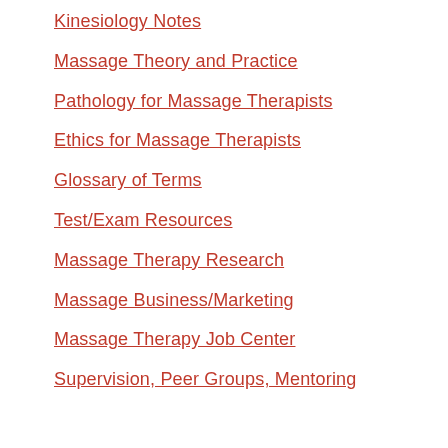Kinesiology Notes
Massage Theory and Practice
Pathology for Massage Therapists
Ethics for Massage Therapists
Glossary of Terms
Test/Exam Resources
Massage Therapy Research
Massage Business/Marketing
Massage Therapy Job Center
Supervision, Peer Groups, Mentoring